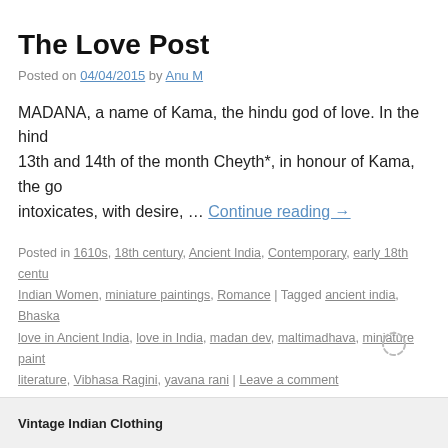The Love Post
Posted on 04/04/2015 by Anu M
MADANA, a name of Kama, the hindu god of love. In the hind 13th and 14th of the month Cheyth*, in honour of Kama, the go intoxicates, with desire, … Continue reading →
Posted in 1610s, 18th century, Ancient India, Contemporary, early 18th centu Indian Women, miniature paintings, Romance | Tagged ancient india, Bhaska love in Ancient India, love in India, madan dev, maltimadhava, miniature paint literature, Vibhasa Ragini, yavana rani | Leave a comment
Vintage Indian Clothing